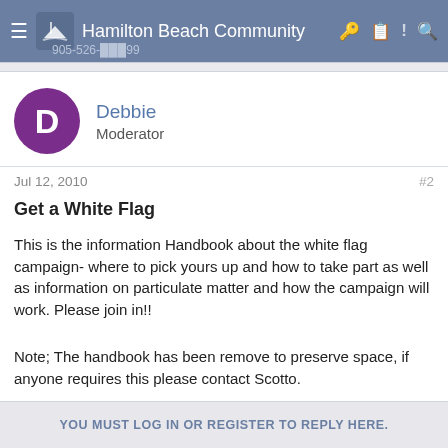Hamilton Beach Community
Debbie
Moderator
Jul 12, 2010   #2
Get a White Flag
This is the information Handbook about the white flag campaign- where to pick yours up and how to take part as well as information on particulate matter and how the campaign will work. Please join in!!
Note; The handbook has been remove to preserve space, if anyone requires this please contact Scotto.
YOU MUST LOG IN OR REGISTER TO REPLY HERE.